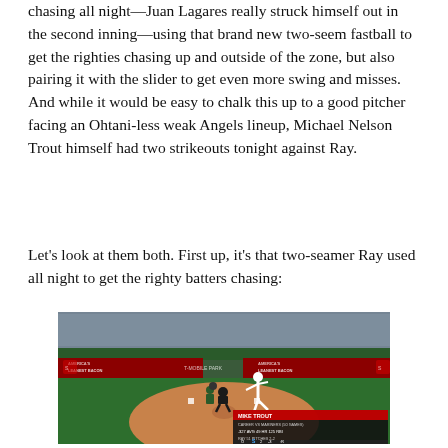chasing all night—Juan Lagares really struck himself out in the second inning—using that brand new two-seem fastball to get the righties chasing up and outside of the zone, but also pairing it with the slider to get even more swing and misses. And while it would be easy to chalk this up to a good pitcher facing an Ohtani-less weak Angels lineup, Michael Nelson Trout himself had two strikeouts tonight against Ray.
Let's look at them both. First up, it's that two-seamer Ray used all night to get the righty batters chasing:
[Figure (photo): Baseball game broadcast screenshot showing a pitcher mid-delivery at T-Mobile Park. Catcher and batter visible. Stadium crowd in background. Advertisement banners reading 'AMERICA'S LEANEST BACON'. Score overlay in bottom right showing MIKE TROUT stats: CAREER VS MARINERS (50 GAMES), .327 AVG, 49 HR, 125 RBI, RAY 51 PITCHES 2-2, score O S 2 -3 R.]